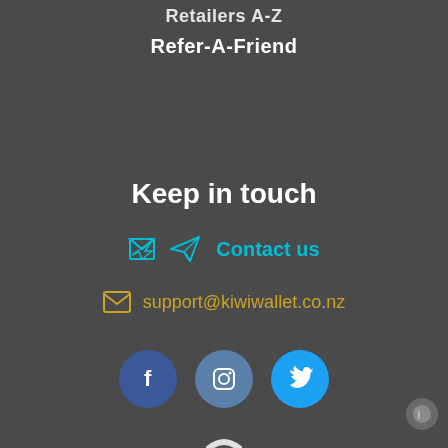Retailers A-Z
Refer-A-Friend
Keep in touch
✉ Contact us
✉ support@kiwiwallet.co.nz
[Figure (other): Social media icons: Facebook, Instagram, Twitter circular buttons]
[Figure (other): Comodo Secure badge/logo at bottom of page]